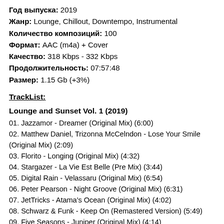Год выпуска: 2019
Жанр: Lounge, Chillout, Downtempo, Instrumental
Количество композиций: 100
Формат: AAC (m4a) + Cover
Качество: 318 Kbps - 332 Kbps
Продолжительность: 07:57:48
Размер: 1.15 Gb (+3%)
TrackList:
Lounge and Sunset Vol. 1 (2019)
01. Jazzamor - Dreamer (Original Mix) (6:00)
02. Matthew Daniel, Trizonna McCelndon - Lose Your Smile (Original Mix) (2:09)
03. Florito - Longing (Original Mix) (4:32)
04. Stargazer - La Vie Est Belle (Pre Mix) (3:44)
05. Digital Rain - Velassaru (Original Mix) (6:54)
06. Peter Pearson - Night Groove (Original Mix) (6:31)
07. JetTricks - Atama's Ocean (Original Mix) (4:02)
08. Schwarz & Funk - Keep On (Remastered Version) (5:49)
09. Five Seasons - Juniper (Original Mix) (4:14)